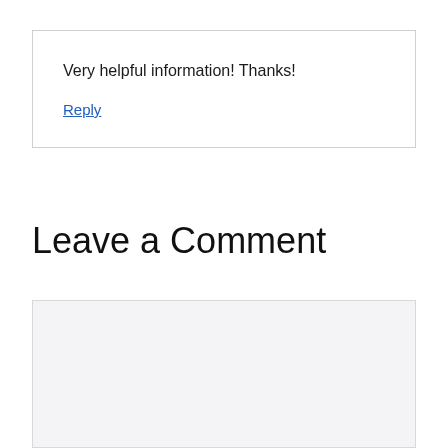Very helpful information! Thanks!
Reply
Leave a Comment